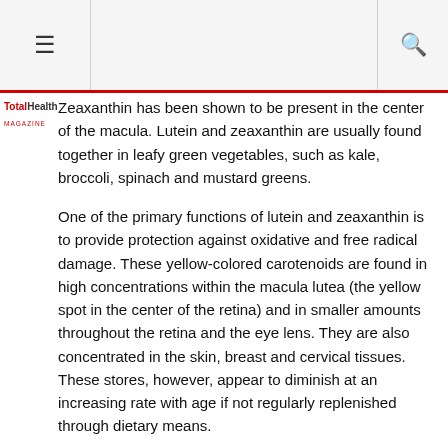≡  [TotalHealth MAGAZINE logo]  🔍
Zeaxanthin has been shown to be present in the center of the macula. Lutein and zeaxanthin are usually found together in leafy green vegetables, such as kale, broccoli, spinach and mustard greens.
One of the primary functions of lutein and zeaxanthin is to provide protection against oxidative and free radical damage. These yellow-colored carotenoids are found in high concentrations within the macula lutea (the yellow spot in the center of the retina) and in smaller amounts throughout the retina and the eye lens. They are also concentrated in the skin, breast and cervical tissues. These stores, however, appear to diminish at an increasing rate with age if not regularly replenished through dietary means.
| Vegetable (1/2 cup serving) | Lutein Content (mg) |
| --- | --- |